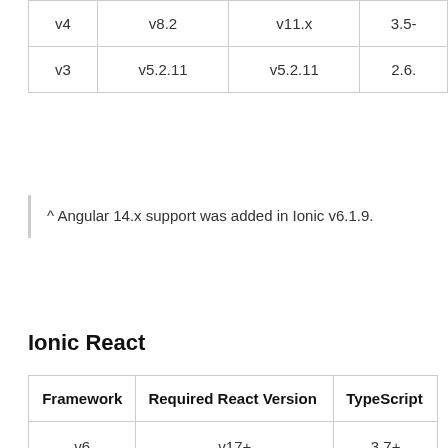|  |  |  |  |
| --- | --- | --- | --- |
| v4 | v8.2 | v11.x | 3.5- |
| v3 | v5.2.11 | v5.2.11 | 2.6. |
^ Angular 14.x support was added in Ionic v6.1.9.
Ionic React
| Framework | Required React Version | TypeScript |
| --- | --- | --- |
| v6 | v17+ | 3.7+ |
| v5 | v16.8+ | 3.7+ |
| v4 | v16.8+ | 3.7+ |